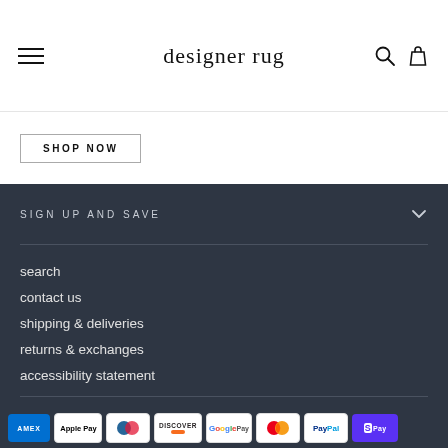designer rug
SHOP NOW
SIGN UP AND SAVE
search
contact us
shipping & deliveries
returns & exchanges
accessibility statement
terms
radio
[Figure (other): Row of payment method icons: AMEX, Apple Pay, Diners Club, Discover, Google Pay, Mastercard, PayPal, Shop Pay]